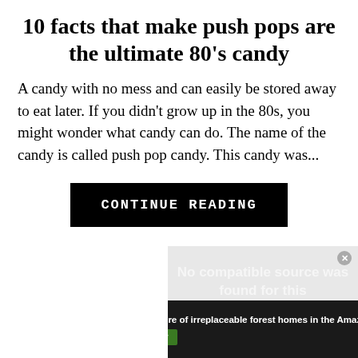10 facts that make push pops are the ultimate 80's candy
A candy with no mess and can easily be stored away to eat later. If you didn't grow up in the 80s, you might wonder what candy can do. The name of the candy is called push pop candy. This candy was...
[Figure (other): Black button with white uppercase monospace text reading CONTINUE READING]
[Figure (other): Advertisement overlay with gray background showing 'No compatible source was found for this media.' text, with a close button, and a rainforest/Amazon donation banner at the bottom reading 'Just $2 can protect 1 acre of irreplaceable forest homes in the Amazon. How many acres are you willing to protect?' with a PROTECT FORESTS NOW button]